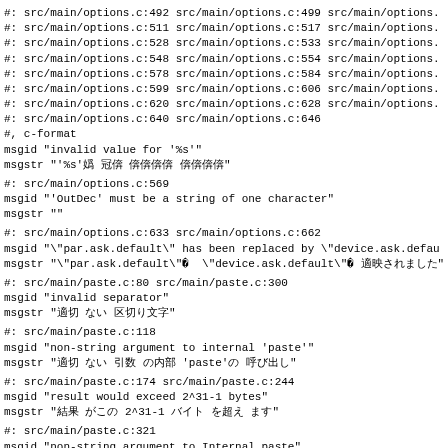#: src/main/options.c:492 src/main/options.c:499 src/main/options.
#: src/main/options.c:511 src/main/options.c:517 src/main/options.
#: src/main/options.c:528 src/main/options.c:533 src/main/options.
#: src/main/options.c:548 src/main/options.c:554 src/main/options.
#: src/main/options.c:578 src/main/options.c:584 src/main/options.
#: src/main/options.c:599 src/main/options.c:606 src/main/options.
#: src/main/options.c:620 src/main/options.c:628 src/main/options.
#: src/main/options.c:640 src/main/options.c:646
#, c-format
msgid "invalid value for '%s'"
msgstr "'%s'Ā āĂ ăĄąĆ ćĈĉĊ"
#: src/main/options.c:569
msgid "'OutDec' must be a string of one character"
msgstr ""
#: src/main/options.c:633 src/main/options.c:662
msgid "\"par.ask.default\" has been replaced by \"device.ask.defau
msgstr "\"par.ask.default\"Ā \"device.ask.default\"ā ĂăĄąĆćĈ"
#: src/main/paste.c:80 src/main/paste.c:300
msgid "invalid separator"
msgstr "ĀāĂă Ąą ĆćĈĉĊċ"
#: src/main/paste.c:118
msgid "non-string argument to internal 'paste'"
msgstr "ĀāĂă Ąą ĆćĈ ĉĊ 'paste'ċ ČčĎďĐđĒ"
#: src/main/paste.c:174 src/main/paste.c:244
msgid "result would exceed 2^31-1 bytes"
msgstr "ĀāĂ ăĄą 2^31-1 ĆćĈĉ ĊċČ čĎďĐ"
#: src/main/paste.c:321
msgid "non-string argument to Internal paste"
msgstr "ĀāĂ ăĄ ąĆć Ĉĉ pasteĊ ċČčĎďĐđ"
#: src/main/paste.c:387
msgid "first argument must be atomic"